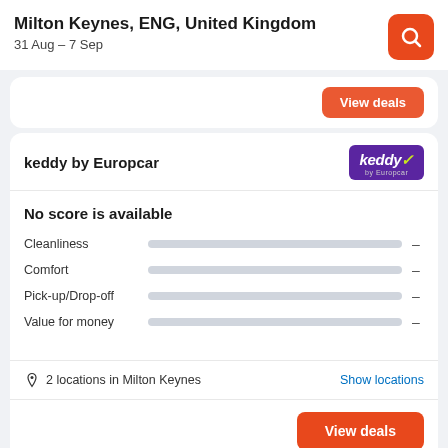Milton Keynes, ENG, United Kingdom
31 Aug – 7 Sep
keddy by Europcar
No score is available
Cleanliness –
Comfort –
Pick-up/Drop-off –
Value for money –
2 locations in Milton Keynes
Show locations
View deals